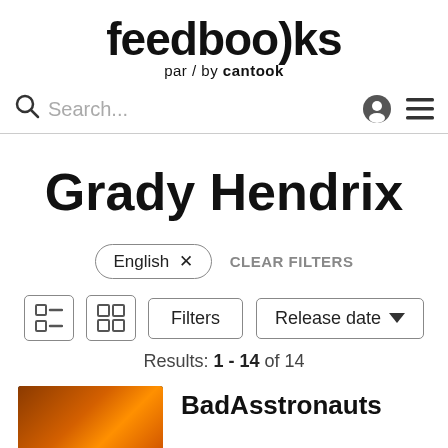feedbooks par / by cantook
Search...
Grady Hendrix
English × CLEAR FILTERS
Filters  Release date
Results: 1 - 14 of 14
BadAsstronauts